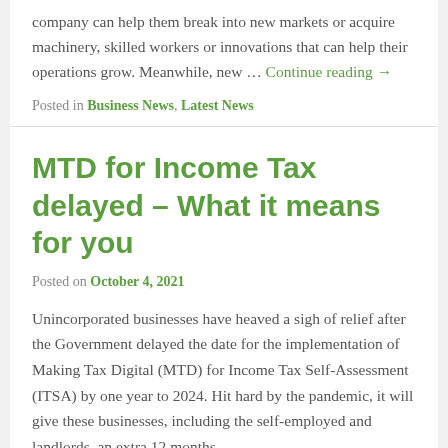company can help them break into new markets or acquire machinery, skilled workers or innovations that can help their operations grow. Meanwhile, new … Continue reading →
Posted in Business News, Latest News
MTD for Income Tax delayed – What it means for you
Posted on October 4, 2021
Unincorporated businesses have heaved a sigh of relief after the Government delayed the date for the implementation of Making Tax Digital (MTD) for Income Tax Self-Assessment (ITSA) by one year to 2024. Hit hard by the pandemic, it will give these businesses, including the self-employed and landlords, an extra 12 months